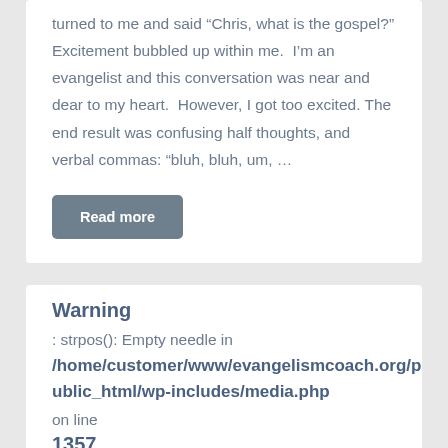turned to me and said “Chris, what is the gospel?” Excitement bubbled up within me.  I’m an evangelist and this conversation was near and dear to my heart.  However, I got too excited. The end result was confusing half thoughts, and verbal commas: “bluh, bluh, um, …
Read more
Warning
: strpos(): Empty needle in
/home/customer/www/evangelismcoach.org/public_html/wp-includes/media.php
on line
1357